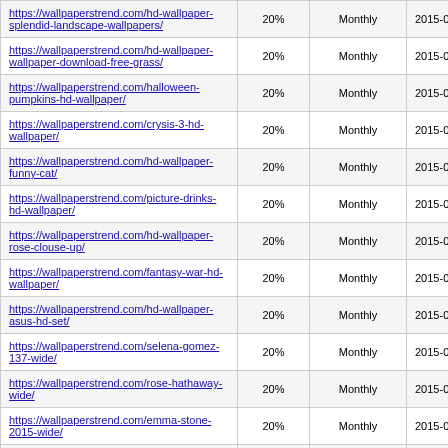| https://wallpaperstrend.com/hd-wallpaper-splendid-landscape-wallpapers/ | 20% | Monthly | 2015-09-07 15:41 |
| https://wallpaperstrend.com/hd-wallpaper-wallpaper-download-free-grass/ | 20% | Monthly | 2015-09-07 15:31 |
| https://wallpaperstrend.com/halloween-pumpkins-hd-wallpaper/ | 20% | Monthly | 2015-09-07 15:23 |
| https://wallpaperstrend.com/crysis-3-hd-wallpaper/ | 20% | Monthly | 2015-09-07 15:18 |
| https://wallpaperstrend.com/hd-wallpaper-funny-cat/ | 20% | Monthly | 2015-09-07 15:16 |
| https://wallpaperstrend.com/picture-drinks-hd-wallpaper/ | 20% | Monthly | 2015-09-07 15:13 |
| https://wallpaperstrend.com/hd-wallpaper-rose-clouse-up/ | 20% | Monthly | 2015-09-07 15:11 |
| https://wallpaperstrend.com/fantasy-war-hd-wallpaper/ | 20% | Monthly | 2015-09-07 15:09 |
| https://wallpaperstrend.com/hd-wallpaper-asus-hd-set/ | 20% | Monthly | 2015-09-07 15:03 |
| https://wallpaperstrend.com/selena-gomez-137-wide/ | 20% | Monthly | 2015-09-07 15:02 |
| https://wallpaperstrend.com/rose-hathaway-wide/ | 20% | Monthly | 2015-09-07 15:02 |
| https://wallpaperstrend.com/emma-stone-2015-wide/ | 20% | Monthly | 2015-09-07 15:01 |
| https://wallpaperstrend.com/... | 20% | Monthly | 2015-09-07 ... |